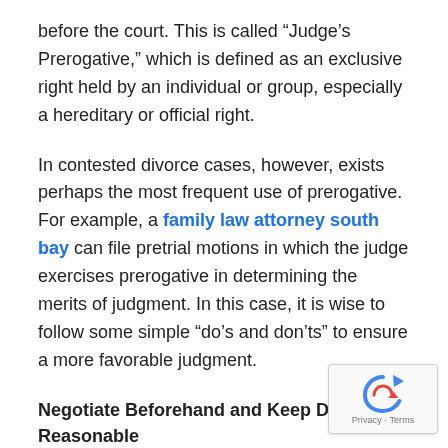before the court. This is called “Judge’s Prerogative,” which is defined as an exclusive right held by an individual or group, especially a hereditary or official right.
In contested divorce cases, however, exists perhaps the most frequent use of prerogative. For example, a family law attorney south bay can file pretrial motions in which the judge exercises prerogative in determining the merits of judgment. In this case, it is wise to follow some simple “do’s and don’ts” to ensure a more favorable judgment.
Negotiate Beforehand and Keep Demands Reasonable
[Figure (logo): reCAPTCHA badge with Privacy and Terms text]